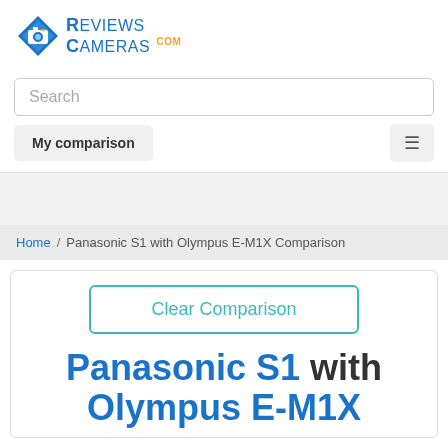[Figure (logo): ReviewsCameras.com logo with blue diamond shape and camera icon, blue text 'Reviews Cameras' with orange '.com' superscript]
Search
My comparison
Home / Panasonic S1 with Olympus E-M1X Comparison
Clear Comparison
Panasonic S1 with Olympus E-M1X